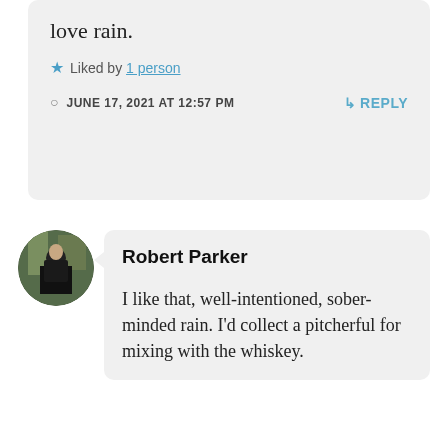love rain.
★ Liked by 1 person
JUNE 17, 2021 AT 12:57 PM
↳ REPLY
Robert Parker
I like that, well-intentioned, sober-minded rain. I'd collect a pitcherful for mixing with the whiskey.